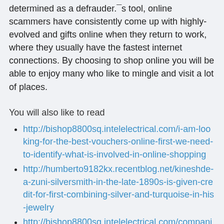determined as a defrauder.¯s tool, online scammers have consistently come up with highly-evolved and gifts online when they return to work, where they usually have the fastest internet connections. By choosing to shop online you will be able to enjoy many who like to mingle and visit a lot of places.
You will also like to read
http://bishop8800sq.intelelectrical.com/i-am-looking-for-the-best-vouchers-online-first-we-need-to-identify-what-is-involved-in-online-shopping
http://humberto9182kx.recentblog.net/kineshde-a-zuni-silversmith-in-the-late-1890s-is-given-credit-for-first-combining-silver-and-turquoise-in-his-jewelry
http://bishop8800sq.intelelectrical.com/companies-in-jamaica-need-to-be-cognisant-of-the-fact-that-consumers-choose-to-shop-online-primarily-for-a-faster-and-more-efficient-shopping-experience
http://wilson2844ds.recentblog.net/furthermore-you-can